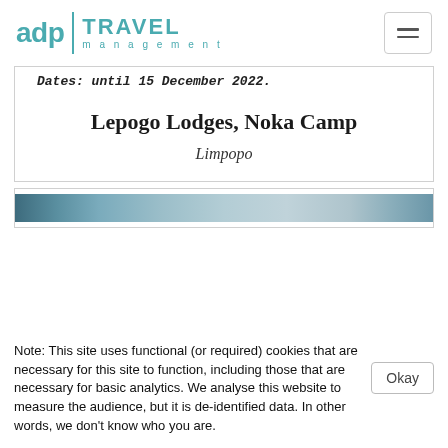[Figure (logo): ADP Travel Management logo with teal text and divider line]
Dates: until 15 December 2022.
Lepogo Lodges, Noka Camp
Limpopo
[Figure (photo): Horizontal banner image strip, appears to be a landscape/nature scene in muted teal and grey tones]
Note: This site uses functional (or required) cookies that are necessary for this site to function, including those that are necessary for basic analytics. We analyse this website to measure the audience, but it is de-identified data. In other words, we don’t know who you are.